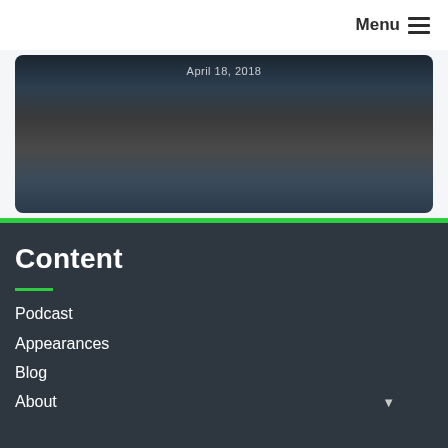Menu
[Figure (photo): A person sitting in a dark setting, partially visible, with text overlay reading 'April 18, 2018']
Content
Podcast
Appearances
Blog
About